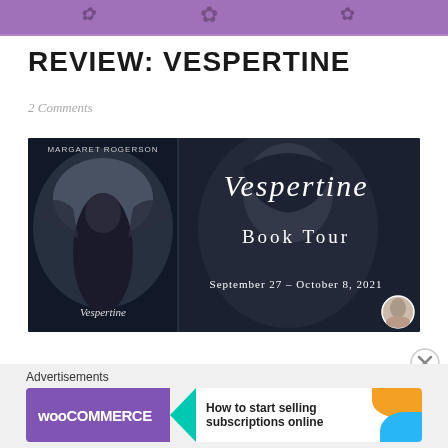REVIEW: VESPERTINE
2 Comments
[Figure (photo): Vespertine Book Tour promotional banner showing the book cover of Vespertine by Margaret Rogerson alongside a hooded figure. Text reads: VESPERTINE Book Tour, September 27 – October 8, 2021.]
Advertisements
[Figure (screenshot): WooCommerce advertisement banner: 'How to start selling subscriptions online']